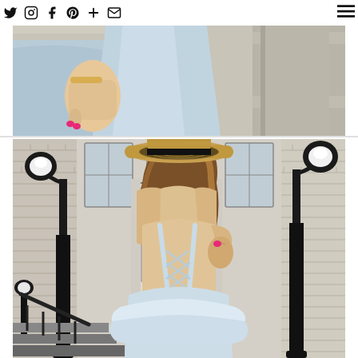Social icons: Twitter, Instagram, Facebook, Pinterest, Google+, Email | Hamburger menu
[Figure (photo): Top portion of a fashion blog page showing a woman wearing a light blue dress, standing on concrete steps. Only the torso and hand are visible. Background shows concrete steps and a wall on the right.]
[Figure (photo): Full photo of a woman seen from behind, wearing a light blue backless dress with spaghetti straps tied in a criss-cross pattern at the back and a ruffle hem. She is wearing a tan straw boater hat with a black band and has wavy blonde/ombre hair. She stands in front of a brick building with black lamp posts on either side and a door with glass windows. There are steps with a railing at the bottom left.]